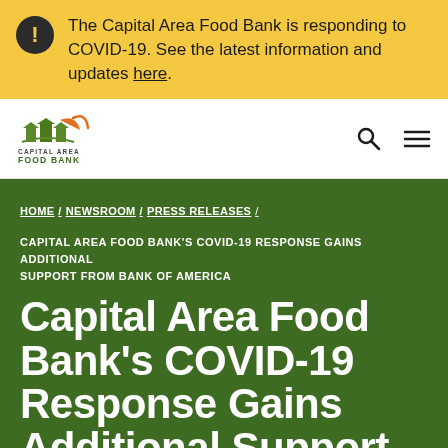The Capital Area Food Bank is responding to COVID-19. See the latest information and updates here.
[Figure (logo): Capital Area Food Bank logo with green plant/building icon and orange swoosh]
HOME / NEWSROOM / PRESS RELEASES /
CAPITAL AREA FOOD BANK'S COVID-19 RESPONSE GAINS ADDITIONAL SUPPORT FROM BANK OF AMERICA
Capital Area Food Bank's COVID-19 Response Gains Additional Support from Bank of America